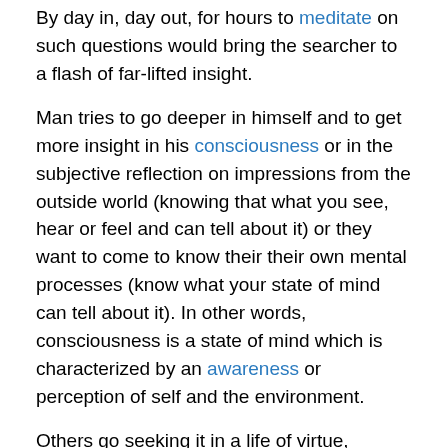By day in, day out, for hours to meditate on such questions would bring the searcher to a flash of far-lifted insight.
Man tries to go deeper in himself and to get more insight in his consciousness or in the subjective reflection on impressions from the outside world (knowing that what you see, hear or feel and can tell about it) or they want to come to know their their own mental processes (know what your state of mind can tell about it). In other words, consciousness is a state of mind which is characterized by an awareness or perception of self and the environment.
Others go seeking it in a life of virtue, anyway formulated. Often such views associated with that of transmigration, from the Latin transmigrare (to migrate across or over), meaning to pass from one condition, place, or body to another, reincarnation. The “soul” of the seeker goes...